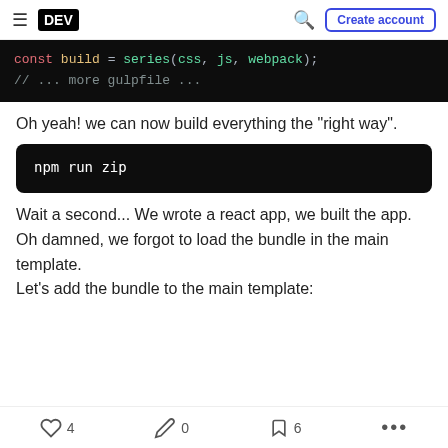DEV | Create account
[Figure (screenshot): Code block showing: const build = series(css, js, webpack); // ... more gulpfile ...]
Oh yeah! we can now build everything the "right way".
[Figure (screenshot): Terminal command block: npm run zip]
Wait a second... We wrote a react app, we built the app.
Oh damned, we forgot to load the bundle in the main template.
Let's add the bundle to the main template:
4  0  6  ...